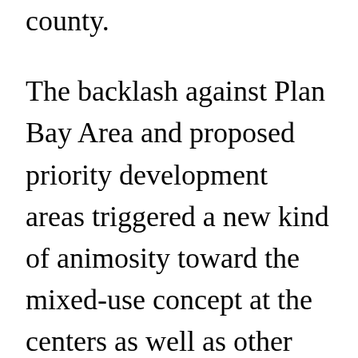county.
The backlash against Plan Bay Area and proposed priority development areas triggered a new kind of animosity toward the mixed-use concept at the centers as well as other locations. Although planners and proponents have seen mixed-use as a kind of paradigm of a walkable, livable environment,